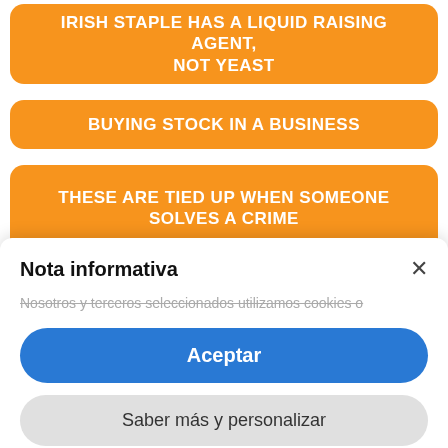IRISH STAPLE HAS A LIQUID RAISING AGENT, NOT YEAST
BUYING STOCK IN A BUSINESS
THESE ARE TIED UP WHEN SOMEONE SOLVES A CRIME
DAYS OR WEEKS INTO THE FUTURE, E.G. _
Nota informativa
Nosotros y terceros seleccionados utilizamos cookies o...
Aceptar
Saber más y personalizar